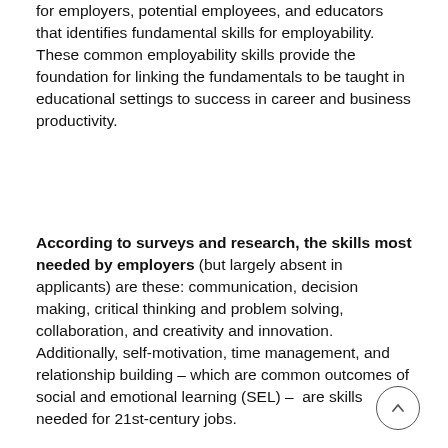for employers, potential employees, and educators that identifies fundamental skills for employability. These common employability skills provide the foundation for linking the fundamentals to be taught in educational settings to success in career and business productivity.
According to surveys and research, the skills most needed by employers (but largely absent in applicants) are these: communication, decision making, critical thinking and problem solving, collaboration, and creativity and innovation. Additionally, self-motivation, time management, and relationship building – which are common outcomes of social and emotional learning (SEL) – are skills needed for 21st-century jobs.